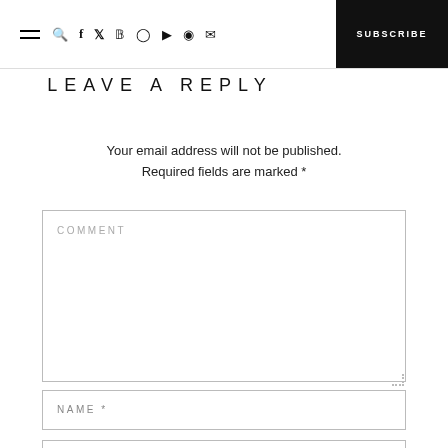≡ 🔍 f 𝕏 ℗ ⊙ ▶ ◉ ✉ SUBSCRIBE
LEAVE A REPLY
Your email address will not be published. Required fields are marked *
COMMENT
NAME *
EMAIL *